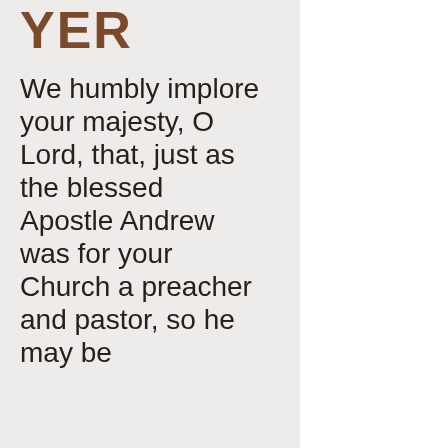YER
We humbly implore your majesty, O Lord, that, just as the blessed Apostle Andrew was for your Church a preacher and pastor, so he may be